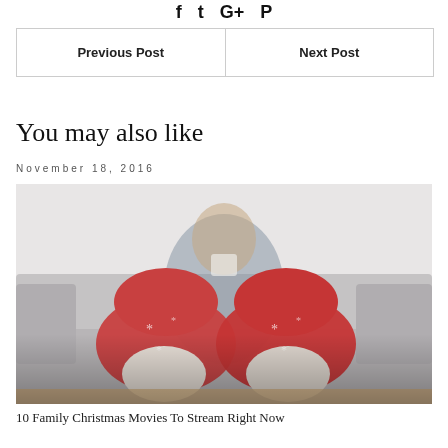f  t  G+  p
Previous Post | Next Post
You may also like
November 18, 2016
[Figure (photo): Person relaxing on a sofa with red Christmas socks raised, holding a cup, cozy holiday scene]
10 Family Christmas Movies To Stream Right Now
10 Family Christmas Movies To Stream Right Now